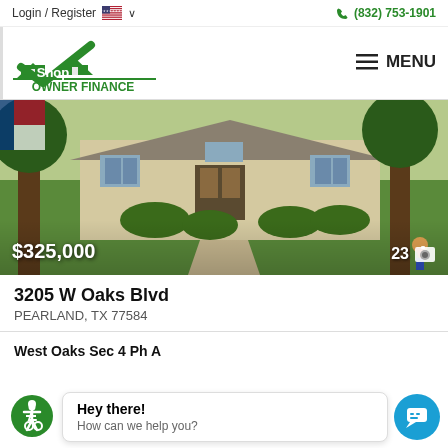Login / Register  (832) 753-1901
[Figure (logo): Shop Owner Finance logo with green rooftop and checkmark design, text 'Shop OWNER FINANCE' in green]
[Figure (photo): Front exterior of a single-story brick house at 3205 W Oaks Blvd, Pearland TX, with lush green lawn, large trees, walkway to front door, and landscaping. Price overlay $325,000 and 23 photos indicator.]
3205 W Oaks Blvd
PEARLAND, TX 77584
West Oaks Sec 4 Ph A
Hey there!
How can we help you?